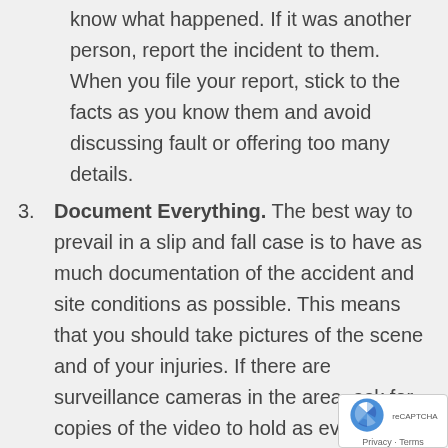know what happened. If it was another person, report the incident to them. When you file your report, stick to the facts as you know them and avoid discussing fault or offering too many details.
3. Document Everything. The best way to prevail in a slip and fall case is to have as much documentation of the accident and site conditions as possible. This means that you should take pictures of the scene and of your injuries. If there are surveillance cameras in the area, ask for copies of the video to hold as evidence. Some of the site conditions that you can document with images and video inclu
a. Slippery substances on the floor
b. Lack of warning signs